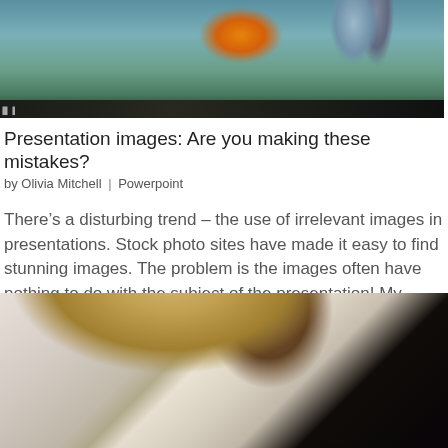[Figure (photo): Top portion of a presentation slide showing an outdoor scene with an orange lamp/lantern among trees, dark bar at bottom with text]
Presentation images: Are you making these mistakes?
by Olivia Mitchell | Powerpoint
There’s a disturbing trend – the use of irrelevant images in presentations. Stock photo sites have made it easy to find stunning images. The problem is the images often have nothing to do with the subject of the presentation! My partner, Tony, calls it…
[Figure (photo): Bottom portion showing close-up of a person with blonde hair against a dark/black background, image cropped]